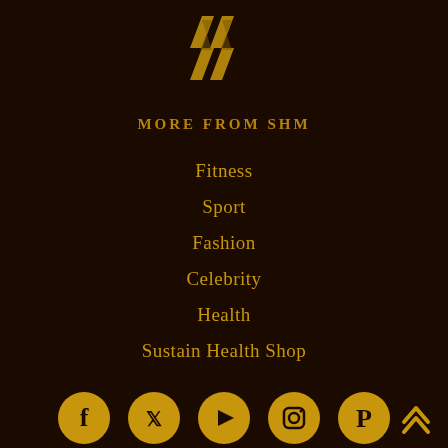[Figure (logo): Gold double chevron / quote mark logo at top center]
MORE FROM SHM
Fitness
Sport
Fashion
Celebrity
Health
Sustain Health Shop
[Figure (other): Row of social media icons: Facebook, Twitter, YouTube, Instagram, Pinterest in gold circles; up-arrow chevron at bottom right]